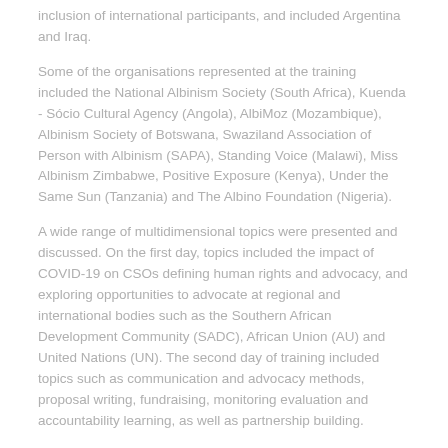inclusion of international participants, and included Argentina and Iraq.
Some of the organisations represented at the training included the National Albinism Society (South Africa), Kuenda - Sócio Cultural Agency (Angola), AlbiMoz (Mozambique), Albinism Society of Botswana, Swaziland Association of Person with Albinism (SAPA), Standing Voice (Malawi), Miss Albinism Zimbabwe, Positive Exposure (Kenya), Under the Same Sun (Tanzania) and The Albino Foundation (Nigeria).
A wide range of multidimensional topics were presented and discussed. On the first day, topics included the impact of COVID-19 on CSOs defining human rights and advocacy, and exploring opportunities to advocate at regional and international bodies such as the Southern African Development Community (SADC), African Union (AU) and United Nations (UN). The second day of training included topics such as communication and advocacy methods, proposal writing, fundraising, monitoring evaluation and accountability learning, as well as partnership building.
The training was highly informative and allowed for interaction through the Q&A sessions and the chat function, which allowed participants to interact with the presenters and with each other. The training provided CSOs with vital information on how to develop their advocacy skills by being more creative and non-conventional, which is crucial during the time of the COVID-19 pandemic and beyond.
*Thank you to the Centre for Human Rights for organising the training. I